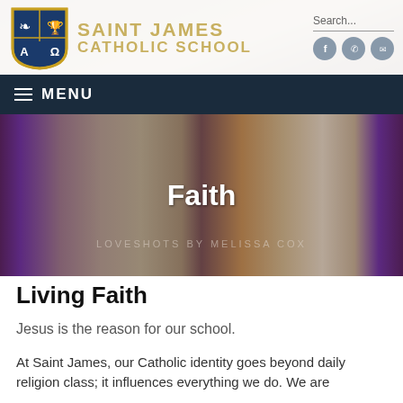[Figure (screenshot): Saint James Catholic School website header with shield logo, school name in gold, search bar, social/contact icons, navy blue MENU bar, and hero photo of people in church with purple vestments. 'Faith' title overlaid on hero image. Watermark text: LOVESHOTS BY MELISSA COX]
Faith
Living Faith
Jesus is the reason for our school.
At Saint James, our Catholic identity goes beyond daily religion class; it influences everything we do. We are